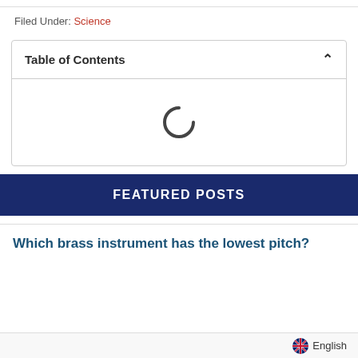Filed Under: Science
Table of Contents
[Figure (other): Loading spinner (partial circle arc) indicating content is loading inside the Table of Contents box]
FEATURED POSTS
Which brass instrument has the lowest pitch?
English